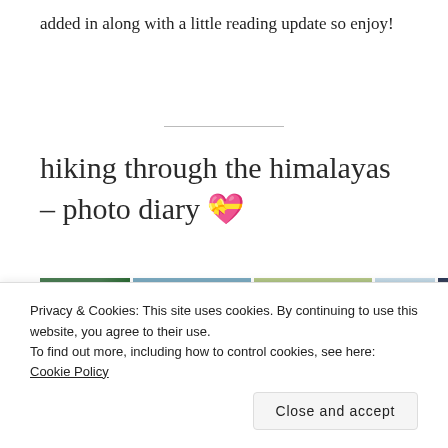added in along with a little reading update so enjoy!
hiking through the himalayas – photo diary 💝
[Figure (photo): Grid of Himalaya hiking photos showing mountain landscapes, forests, and sky views]
Privacy & Cookies: This site uses cookies. By continuing to use this website, you agree to their use.
To find out more, including how to control cookies, see here: Cookie Policy
Close and accept